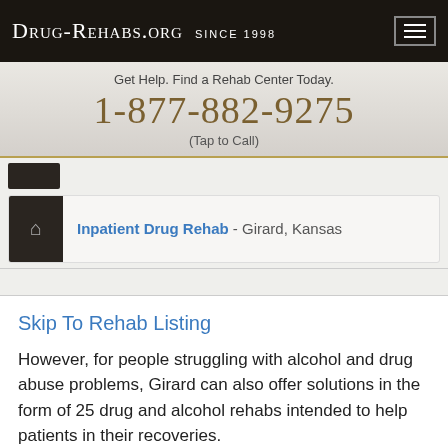Drug-Rehabs.org Since 1998
Get Help. Find a Rehab Center Today.
1-877-882-9275
(Tap to Call)
Inpatient Drug Rehab - Girard, Kansas
Skip To Rehab Listing
However, for people struggling with alcohol and drug abuse problems, Girard can also offer solutions in the form of 25 drug and alcohol rehabs intended to help patients in their recoveries.